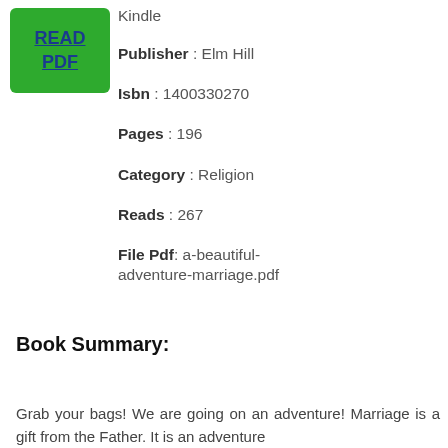[Figure (other): Green button with blue underlined text reading READ PDF]
Kindle
Publisher : Elm Hill
Isbn : 1400330270
Pages : 196
Category : Religion
Reads : 267
File Pdf: a-beautiful-adventure-marriage.pdf
Book Summary:
Grab your bags! We are going on an adventure! Marriage is a gift from the Father. It is an adventure ...